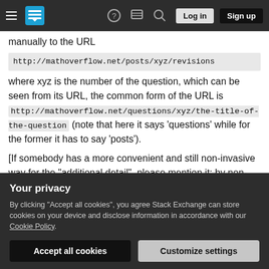Navigation bar with hamburger menu, Stack Exchange logo, help icon, chat icon, search icon, Log in button, Sign up button
manually to the URL http://mathoverflow.net/posts/xyz/revisions where xyz is the number of the question, which can be seen from its URL, the common form of the URL is http://mathoverflow.net/questions/xyz/the-title-of-the-question (note that here it says 'questions' while for the former it has to say 'posts').
[If somebody has a more convenient and still non-invasive way for the "additional detail", please mention it; by non-invasive it is meant other than by simply editing the question.]
Your privacy
By clicking "Accept all cookies", you agree Stack Exchange can store cookies on your device and disclose information in accordance with our Cookie Policy.
Accept all cookies | Customize settings
user9012